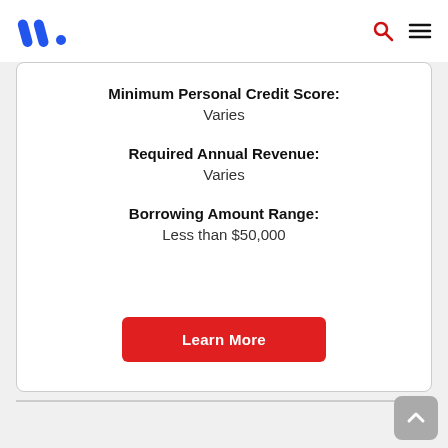Nav logo and icons
Minimum Personal Credit Score:
Varies
Required Annual Revenue:
Varies
Borrowing Amount Range:
Less than $50,000
Learn More